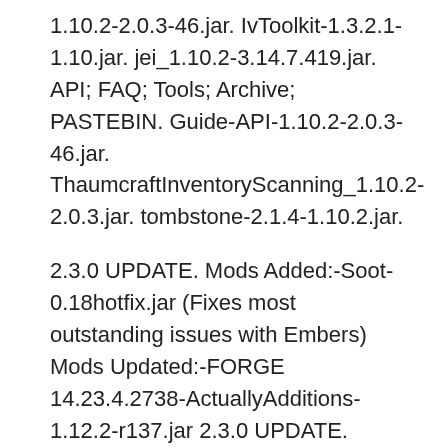1.10.2-2.0.3-46.jar. IvToolkit-1.3.2.1-1.10.jar. jei_1.10.2-3.14.7.419.jar. API; FAQ; Tools; Archive; PASTEBIN. Guide-API-1.10.2-2.0.3-46.jar. ThaumcraftInventoryScanning_1.10.2-2.0.3.jar. tombstone-2.1.4-1.10.2.jar.
2.3.0 UPDATE. Mods Added:-Soot-0.18hotfix.jar (Fixes most outstanding issues with Embers) Mods Updated:-FORGE 14.23.4.2738-ActuallyAdditions-1.12.2-r137.jar 2.3.0 UPDATE. Mods Added:-Soot-0.18hotfix.jar (Fixes most outstanding issues with Embers) Mods Updated:-FORGE 14.23.4.2738-ActuallyAdditions-1.12.2-r137.jar
CompatLayer Mod is a small library/mod that allows you to write mods that run on 1.10.2 and 1.11.2 with the same binary jar B» API and Library 11.2-0.1.6.jar Guide-API-1.10.2-2.0.2-45.jar. Uploaded by. TehNutJenkins